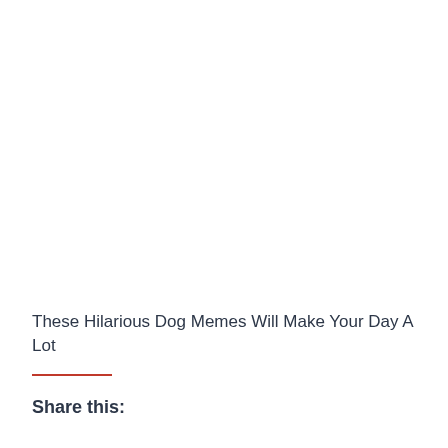These Hilarious Dog Memes Will Make Your Day A Lot
Share this: